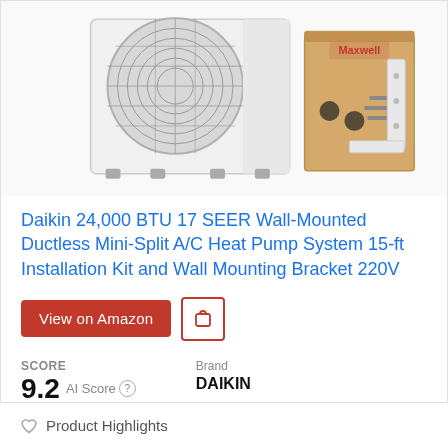[Figure (photo): Product photo of a Daikin mini-split outdoor AC unit (white box with fan grill) alongside a Maxwell-branded cardboard box and white wall mounting bracket with hardware]
Daikin 24,000 BTU 17 SEER Wall-Mounted Ductless Mini-Split A/C Heat Pump System 15-ft Installation Kit and Wall Mounting Bracket 220V
View on Amazon
SCORE
9.2 AI Score
Brand
DAIKIN
Product Highlights